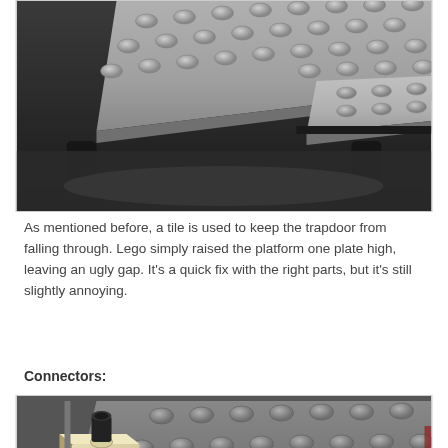[Figure (photo): Close-up photo of gray LEGO baseplate/platform showing studs on top and a black arch/support structure underneath, with a gap visible between the platform and surface.]
As mentioned before, a tile is used to keep the trapdoor from falling through. Lego simply raised the platform one plate high, leaving an ugly gap. It's a quick fix with the right parts, but it's still slightly annoying.
Connectors:
[Figure (photo): Close-up photo of gray and tan/cream LEGO pieces showing connectors on a dark gray baseplate with studs visible, a small tan connector piece and black cylindrical element on the left.]